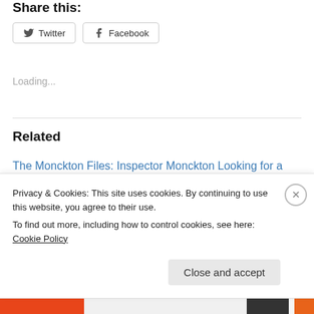Share this:
[Figure (other): Twitter and Facebook share buttons]
Loading...
Related
The Monckton Files: Inspector Monckton Looking for a Clue
December 16, 2011
In "Climate Change"
Privacy & Cookies: This site uses cookies. By continuing to use this website, you agree to their use.
To find out more, including how to control cookies, see here: Cookie Policy
Close and accept